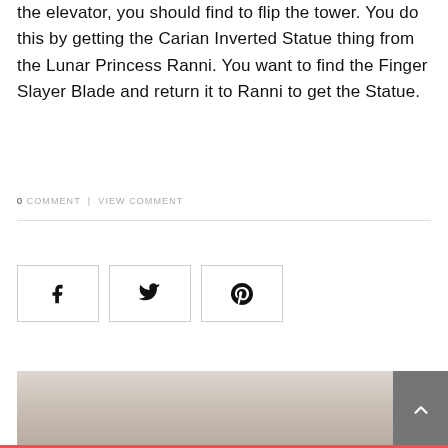reply full), incapable to be reached. To arrive at the elevator, you should find to flip the tower. You do this by getting the Carian Inverted Statue thing from the Lunar Princess Ranni. You want to find the Finger Slayer Blade and return it to Ranni to get the Statue.
0 COMMENT | VIEW COMMENT
[Figure (other): Three social share buttons: Facebook (f), Twitter (bird), Pinterest (p)]
[Figure (photo): Bottom partial image of a landscape, with a dark grey scroll-to-top button in the lower right corner showing an upward chevron arrow.]